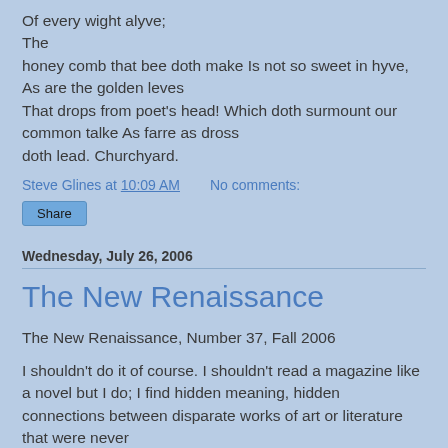Of every wight alyve;
The
honey comb that bee doth make Is not so sweet in hyve,
As are the golden leves
That drops from poet's head! Which doth surmount our
common talke As farre as dross
doth lead. Churchyard.
Steve Glines at 10:09 AM   No comments:
[Figure (other): Share button]
Wednesday, July 26, 2006
The New Renaissance
The New Renaissance, Number 37, Fall 2006
I shouldn't do it of course. I shouldn't read a magazine like a novel but I do; I find hidden meaning, hidden connections between disparate works of art or literature that were never